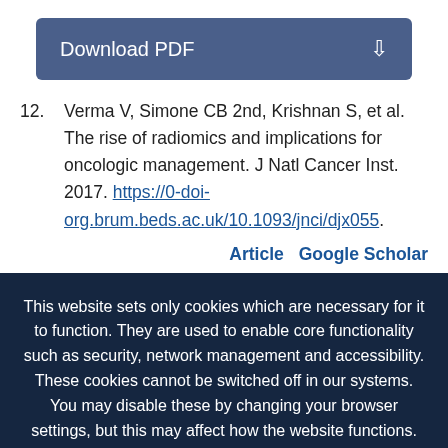[Figure (other): Download PDF button with download icon]
12. Verma V, Simone CB 2nd, Krishnan S, et al. The rise of radiomics and implications for oncologic management. J Natl Cancer Inst. 2017. https://0-doi-org.brum.beds.ac.uk/10.1093/jnci/djx055.
Article   Google Scholar
This website sets only cookies which are necessary for it to function. They are used to enable core functionality such as security, network management and accessibility. These cookies cannot be switched off in our systems. You may disable these by changing your browser settings, but this may affect how the website functions. Please view our privacy policy for further details on how we process your information. Dismiss